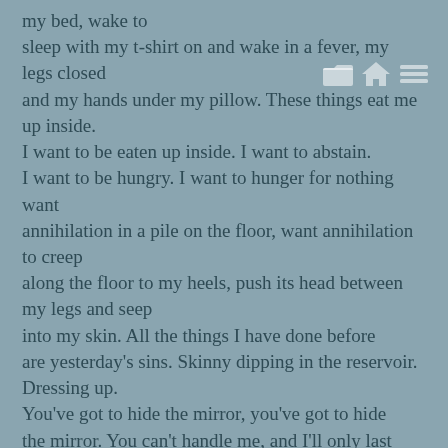sleep with my t-shirt on and wake in a fever, my legs closed and my hands under my pillow. These things eat me up inside. I want to be eaten up inside. I want to abstain. I want to be hungry. I want to hunger for nothing want annihilation in a pile on the floor, want annihilation to creep along the floor to my heels, push its head between my legs and seep into my skin. All the things I have done before are yesterday's sins. Skinny dipping in the reservoir. Dressing up. You've got to hide the mirror, you've got to hide the mirror. You can't handle me, and I'll only last sixty seconds. And I'm gonna brush my hair one hundred times